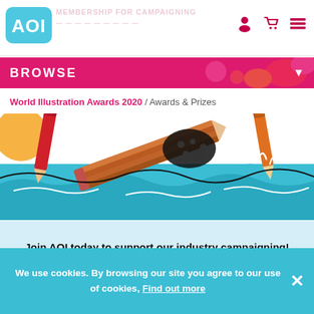AOI — MEMBERSHIP FOR CAMPAIGNING
[Figure (screenshot): AOI logo — white lettering on cyan/teal rounded square background]
BROWSE
World Illustration Awards 2020 / Awards & Prizes
[Figure (illustration): Colorful illustration of pencils and art supplies floating on stylized blue waves with orange, red, and black colors]
Join AOI today to support our industry campaigning!
GUIDE TO LAW & BUSINESS BOOK
We use cookies. By browsing our site you agree to our use of cookies, Find out more